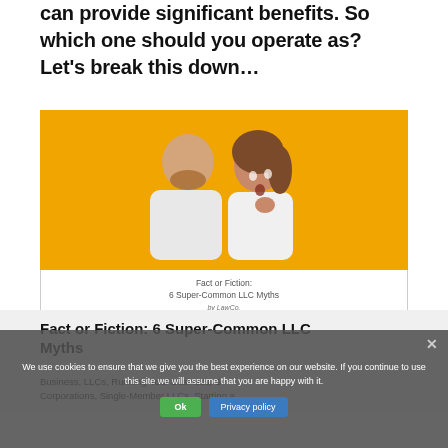can provide significant benefits. So which one should you operate as? Let's break this down...
[Figure (photo): A man whispering into a surprised woman's ear, both wearing white shirts against an orange/yellow background. Image is part of a linked article card titled 'Fact or Fiction: 6 Super-Common LLC Myths' by LawCo.]
Fact or Fiction:
6 Super-Common LLC Myths
by LawCo.
Fact or Fiction: 6 Super-Common LLC Myths
Business, LLCs, Running Your Business, S Corporations, Single-Member LLCs, Starting a